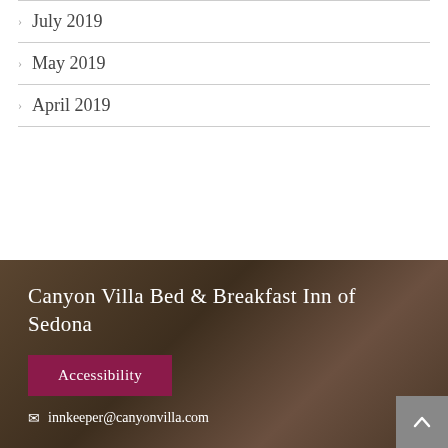July 2019
May 2019
April 2019
Canyon Villa Bed & Breakfast Inn of Sedona
Accessibility
innkeeper@canyonvilla.com